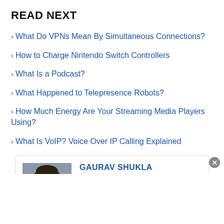READ NEXT
› What Do VPNs Mean By Simultaneous Connections?
› How to Charge Nintendo Switch Controllers
› What Is a Podcast?
› What Happened to Telepresence Robots?
› How Much Energy Are Your Streaming Media Players Using?
› What Is VoIP? Voice Over IP Calling Explained
[Figure (photo): Headshot photo of Gaurav Shukla, a technology journalist]
GAURAV SHUKLA
Gaurav Shukla is a technology journalist with over a decade's